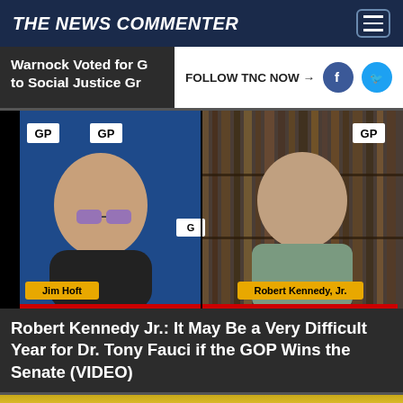THE NEWS COMMENTER
Warnock Voted for G... to Social Justice Gr...
FOLLOW TNC NOW →
[Figure (photo): Split-screen video still showing Jim Hoft on left with blue background and GP logos, and Robert Kennedy Jr. on right in front of a bookshelf with GP logos. Name tags appear at bottom of each panel.]
Robert Kennedy Jr.: It May Be a Very Difficult Year for Dr. Tony Fauci if the GOP Wins the Senate (VIDEO)